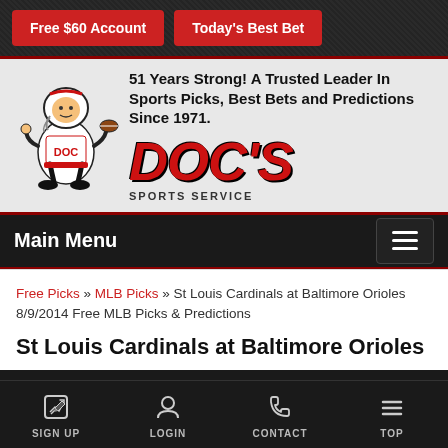[Figure (screenshot): Mobile website screenshot of Doc's Sports Service. Top section shows two red buttons: 'Free $60 Account' and 'Today's Best Bet'. Below is a brand banner with a football player mascot cartoon, the text '51 Years Strong! A Trusted Leader In Sports Picks, Best Bets and Predictions Since 1971.' and the DOC'S SPORTS SERVICE logo. Below that is a dark navigation bar with 'Main Menu' and a hamburger icon. The content area shows a breadcrumb navigation and the beginning of an article title about St Louis Cardinals at Baltimore Orioles. At the bottom is a footer nav bar with SIGN UP, LOGIN, CONTACT, and TOP icons.]